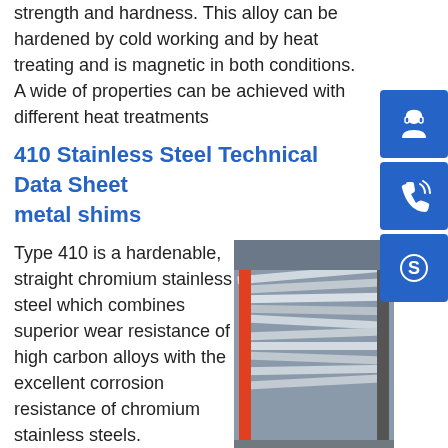strength and hardness. This alloy can be hardened by cold working and by heat treating and is magnetic in both conditions. A wide of properties can be achieved with different heat treatments
410 Stainless Steel Technical Data Sheet metal shims
Type 410 is a hardenable, straight chromium stainless steel which combines superior wear resistance of high carbon alloys with the excellent corrosion resistance of chromium stainless steels.sp.info Stainless Steel - 410 Stainless Steel - BEARTECH ALLOYS Martensitic stainless steel that provides good corrosion resistance plus high strength and hardness : Magnetic in both the annealed and hardened conditions ... Types 410 stainless steel is available in Sheet...
[Figure (photo): Photo of stainless steel sheets/strips fanned out on a rack in an industrial setting]
[Figure (illustration): Blue icon button with headset/customer support icon]
[Figure (illustration): Blue icon button with phone/call icon]
[Figure (illustration): Blue icon button with Skype icon]